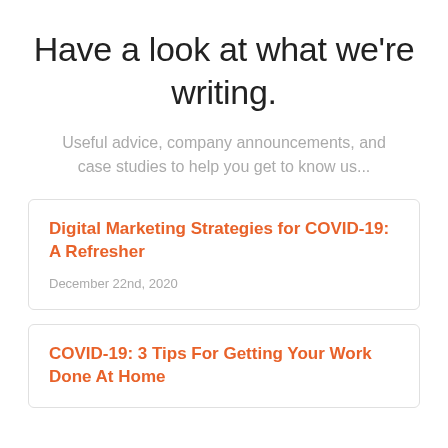Have a look at what we’re writing.
Useful advice, company announcements, and case studies to help you get to know us...
Digital Marketing Strategies for COVID-19: A Refresher
December 22nd, 2020
COVID-19: 3 Tips For Getting Your Work Done At Home